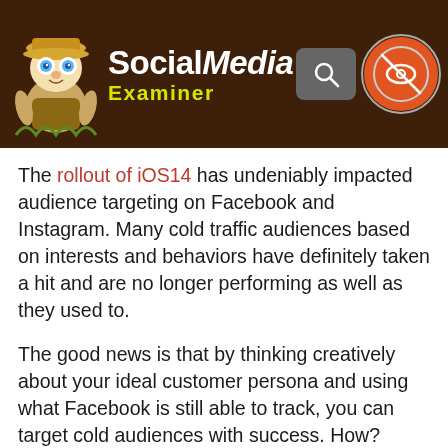Social Media Examiner
The rollout of iOS14 has undeniably impacted audience targeting on Facebook and Instagram. Many cold traffic audiences based on interests and behaviors have definitely taken a hit and are no longer performing as well as they used to.
The good news is that by thinking creatively about your ideal customer persona and using what Facebook is still able to track, you can target cold audiences with success. How? Millions of consumers are using Facebook and Instagram every day and their on-platform activity is still being tracked via the pages they like, the content they engage with and comment on, what they post about, etc. All of these